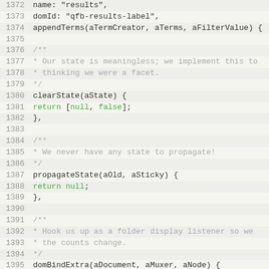[Figure (screenshot): Source code listing (JavaScript) with line numbers 1372–1403, showing method definitions including clearState, propagateState, domBindExtra, and reflectInDOM with syntax highlighting: keywords in green, comments in gray, code in dark.]